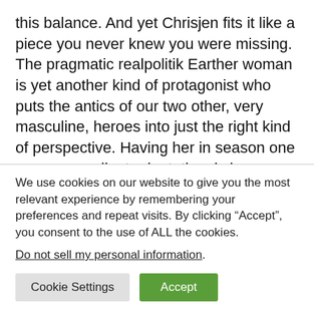this balance. And yet Chrisjen fits it like a piece you never knew you were missing. The pragmatic realpolitik Earther woman is yet another kind of protagonist who puts the antics of our two other, very masculine, heroes into just the right kind of perspective. Having her in season one was an excellent adaptational change.
Speaking of the female point of view, there is also something the show did worse than the books, and that is Julie Mao. The entire prologue of the book is from her
We use cookies on our website to give you the most relevant experience by remembering your preferences and repeat visits. By clicking “Accept”, you consent to the use of ALL the cookies.
Do not sell my personal information.